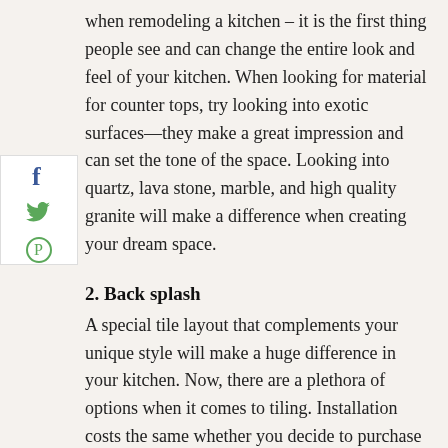when remodeling a kitchen – it is the first thing people see and can change the entire look and feel of your kitchen. When looking for material for counter tops, try looking into exotic surfaces—they make a great impression and can set the tone of the space. Looking into quartz, lava stone, marble, and high quality granite will make a difference when creating your dream space.
[Figure (other): Social sharing sidebar with Facebook (f), Twitter (bird), and Pinterest (P) icons]
2. Back splash
A special tile layout that complements your unique style will make a huge difference in your kitchen. Now, there are a plethora of options when it comes to tiling. Installation costs the same whether you decide to purchase cheaper tiles or splurge on something more decadent, so why not find something you love?